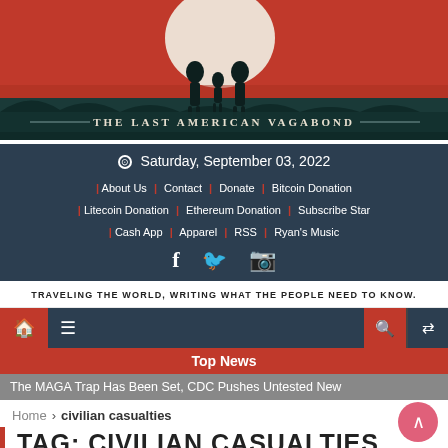[Figure (illustration): The Last American Vagabond banner with silhouettes of people against a red sunset sky and dark landscape]
THE LAST AMERICAN VAGABOND
Saturday, September 03, 2022
About Us | Contact | Donate | Bitcoin Donation | Litecoin Donation | Ethereum Donation | Subscribe Star | Cash App | Apparel | RSS | Ryan's Music
TRAVELING THE WORLD, WRITING WHAT THE PEOPLE NEED TO KNOW.
Top News
The MAGA Trap Has Been Set, CDC Pushes Untested New
Home › civilian casualties
TAG: CIVILIAN CASUALTIES